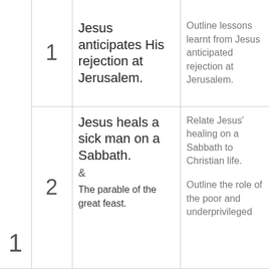|  |  | Topic | Objectives | Reference |
| --- | --- | --- | --- | --- |
|  | 1 | Jesus anticipates His rejection at Jerusalem. | Outline lessons learnt from Jesus anticipated rejection at Jerusalem. | Luke ...
Discuss relevance of Jesus' anticipating rejection at... Christ... |
| 1 | 2 | Jesus heals a sick man on a Sabbath.
&
The parable of the great feast. | Relate Jesus' healing on a Sabbath to Christian life.
Outline the role of the poor and underprivileged... | Luke ...
15-24
Discus... |